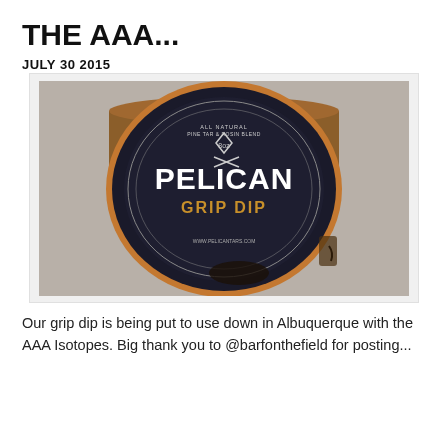THE AAA...
JULY 30 2015
[Figure (photo): A circular tin of Pelican Grip Dip, a pine tar and rosin blend product made in San Francisco, CA. The tin has a dark label with the brand name PELICAN in large white letters and GRIP DIP in gold/orange letters. The tin appears used and worn around the edges.]
Our grip dip is being put to use down in Albuquerque with the AAA Isotopes. Big thank you to @barfonthefield for posting...